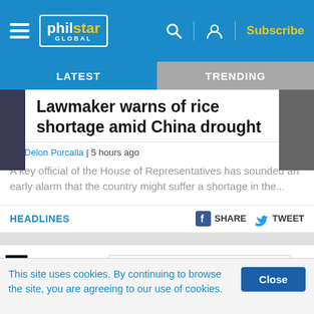philstar GLOBAL | Subscribe
LATEST | TRENDING
Lawmaker warns of rice shortage amid China drought
By Delon Porcalla | 5 hours ago
A key official of the House of Representatives has sounded an early alarm that the country might suffer a shortage in the...
HEADLINES
SHARE  TWEET
This site uses cookies. By continuing to browse the site, you are agreeing to our use of cookies.